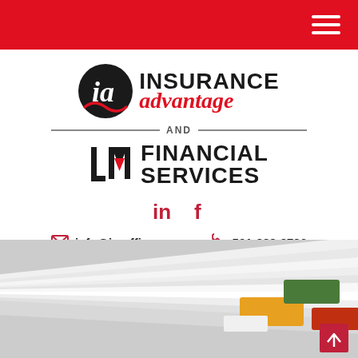Navigation header with hamburger menu
[Figure (logo): Insurance Advantage and LMA Financial Services logo with 'ia' circular icon and LMA mountain/triangle icon]
in f (LinkedIn and Facebook social icons)
info@ia-office.com  501-988-2726
[Figure (photo): Stacked papers/documents with yellow, green, red, and white tabs/dividers, blurred background]